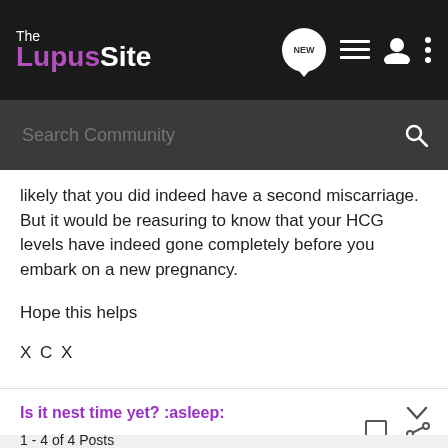The Lupus Site
likely that you did indeed have a second miscarriage. But it would be reasuring to know that your HCG levels have indeed gone completely before you embark on a new pregnancy.
Hope this helps
X C X
Is it nest time yet? :asleep:
1 - 4 of 4 Posts